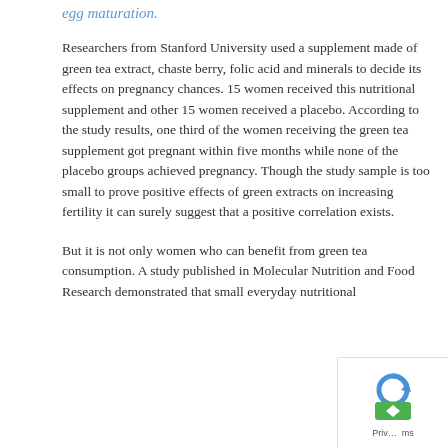egg maturation.
Researchers from Stanford University used a supplement made of green tea extract, chaste berry, folic acid and minerals to decide its effects on pregnancy chances. 15 women received this nutritional supplement and other 15 women received a placebo. According to the study results, one third of the women receiving the green tea supplement got pregnant within five months while none of the placebo groups achieved pregnancy. Though the study sample is too small to prove positive effects of green extracts on increasing fertility it can surely suggest that a positive correlation exists.
But it is not only women who can benefit from green tea consumption. A study published in Molecular Nutrition and Food Research demonstrated that small everyday nutritional